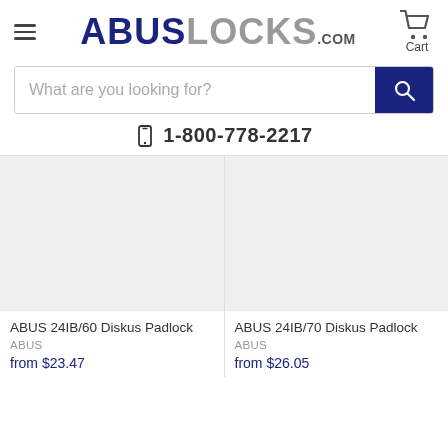[Figure (logo): ABUSLOCKS.COM logo with hamburger menu and cart icon in header]
[Figure (screenshot): Search bar with placeholder 'What are you looking for?' and dark blue search button with magnifying glass icon]
1-800-778-2217
[Figure (photo): ABUS 24IB/60 Diskus Padlock product image placeholder (light gray box)]
ABUS 24IB/60 Diskus Padlock
ABUS
from $23.47
[Figure (photo): ABUS 24IB/70 Diskus Padlock product image placeholder (light gray box)]
ABUS 24IB/70 Diskus Padlock
ABUS
from $26.05